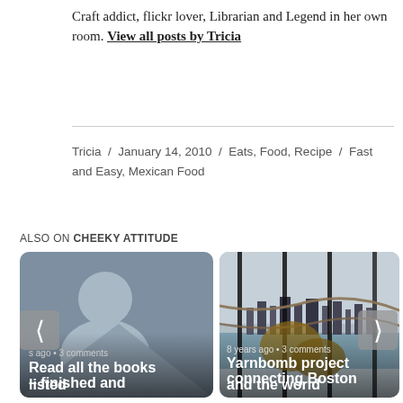Craft addict, flickr lover, Librarian and Legend in her own room. View all posts by Tricia
Tricia / January 14, 2010 / Eats, Food, Recipe / Fast and Easy, Mexican Food
ALSO ON CHEEKY ATTITUDE
[Figure (illustration): Card with gray placeholder avatar silhouette image, caption 's ago • 3 comments', title 'Read all the books – finished and listed']
[Figure (photo): Card with photo of Boston skyline seen through fence with yarn/rope, caption '8 years ago • 3 comments', title 'Yarnbomb project connecting Boston and the world']